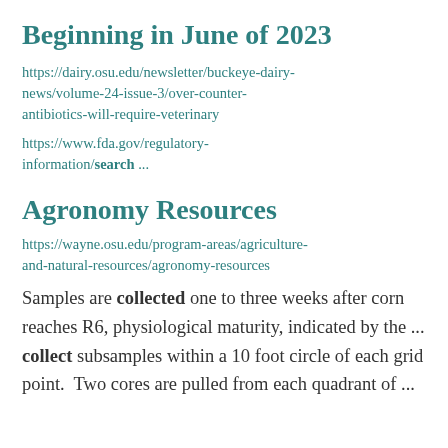Beginning in June of 2023
https://dairy.osu.edu/newsletter/buckeye-dairy-news/volume-24-issue-3/over-counter-antibiotics-will-require-veterinary
https://www.fda.gov/regulatory-information/search ...
Agronomy Resources
https://wayne.osu.edu/program-areas/agriculture-and-natural-resources/agronomy-resources
Samples are collected one to three weeks after corn reaches R6, physiological maturity, indicated by the ... collect subsamples within a 10 foot circle of each grid point.  Two cores are pulled from each quadrant of ...